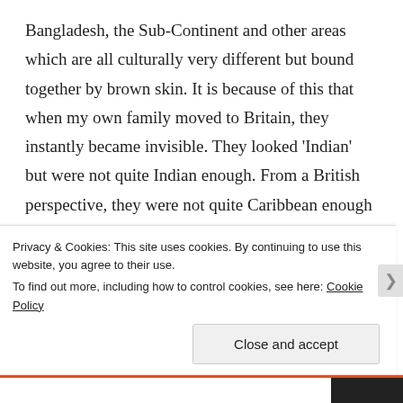Bangladesh, the Sub-Continent and other areas which are all culturally very different but bound together by brown skin. It is because of this that when my own family moved to Britain, they instantly became invisible. They looked 'Indian' but were not quite Indian enough. From a British perspective, they were not quite Caribbean enough because to be Caribbean was imagined to be of African origin. Indo-Caribbean culture is influenced by all of these communities and the fusion of Indian and African cultures is what makes it quite unique and yet very few people are
Privacy & Cookies: This site uses cookies. By continuing to use this website, you agree to their use.
To find out more, including how to control cookies, see here: Cookie Policy
Close and accept